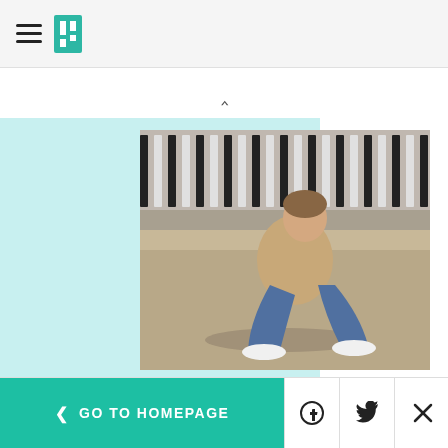HuffPost navigation header with hamburger menu and logo
[Figure (photo): Person squatting low on a sandy beach surface, wearing beige jacket, blue jeans, and white sneakers. Vertical striped fence in background.]
WELLNESS
Should We All Be Squatting More?
[Figure (photo): Small dog with fluffy hair and orange bow/flower accessory, viewed from above.]
< GO TO HOMEPAGE | Facebook | Twitter | X/Close